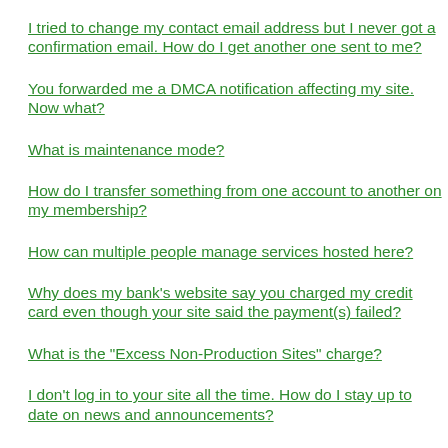I tried to change my contact email address but I never got a confirmation email. How do I get another one sent to me?
You forwarded me a DMCA notification affecting my site. Now what?
What is maintenance mode?
How do I transfer something from one account to another on my membership?
How can multiple people manage services hosted here?
Why does my bank's website say you charged my credit card even though your site said the payment(s) failed?
What is the "Excess Non-Production Sites" charge?
I don't log in to your site all the time. How do I stay up to date on news and announcements?
How do I remove or replace my two-factor device?
How do I hand over control of hosted services to someone